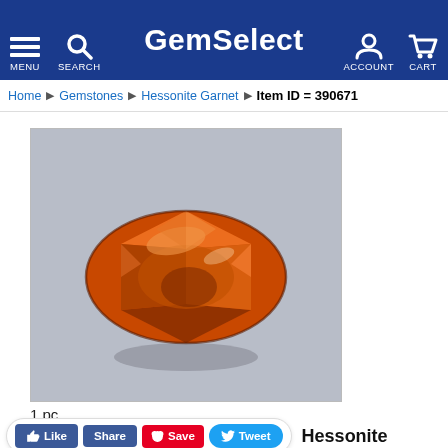GemSelect — MENU SEARCH ACCOUNT CART
Home  Gemstones  Hessonite Garnet  Item ID = 390671
[Figure (photo): Oval faceted hessonite garnet gemstone in deep orange-brown color on a light gray background. The gem shows brilliant faceting with reflections and a shadow beneath it.]
1 pc
Like  Share  Save  Tweet  Hessonite